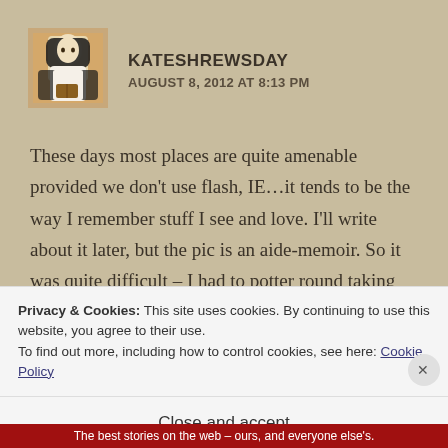[Figure (illustration): Avatar image of a medieval-style illustration of a figure in white and black clothing]
KATESHREWSDAY
AUGUST 8, 2012 AT 8:13 PM
These days most places are quite amenable provided we don’t use flash, IE…it tends to be the way I remember stuff I see and love. I’ll write about it later, but the pic is an aide-memoir. So it was quite difficult – I had to potter round taking copious notes!!
Privacy & Cookies: This site uses cookies. By continuing to use this website, you agree to their use.
To find out more, including how to control cookies, see here: Cookie Policy
Close and accept
The best stories on the web – ours, and everyone else’s.